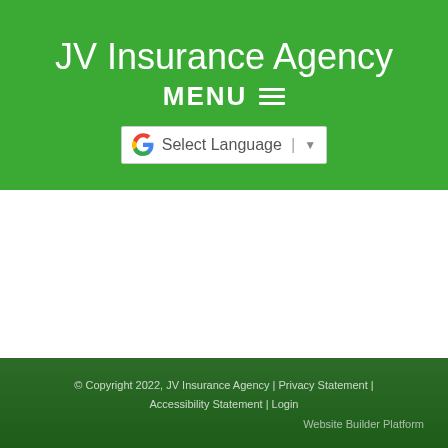JV Insurance Agency
MENU
[Figure (screenshot): Google Translate language selector widget with G logo, 'Select Language' text, and dropdown arrow]
© Copyright 2022, JV Insurance Agency | Privacy Statement | Accessibility Statement | Login
Website Builder Platform